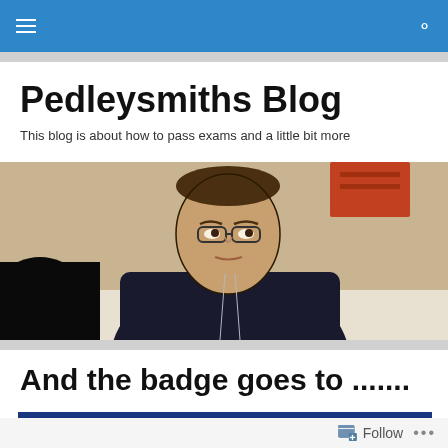Pedleysmiths Blog navigation bar
Pedleysmiths Blog
This blog is about how to pass exams and a little bit more
[Figure (photo): A cartoon/illustrated style photo of a man in a dark suit with glasses, sitting at a table and looking upward. There is an orange/red sign or board visible in the upper right background.]
And the badge goes to .......
Follow ...